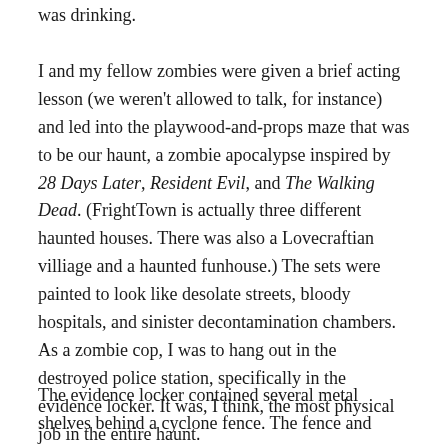was drinking.
I and my fellow zombies were given a brief acting lesson (we weren't allowed to talk, for instance) and led into the playwood-and-props maze that was to be our haunt, a zombie apocalypse inspired by 28 Days Later, Resident Evil, and The Walking Dead. (FrightTown is actually three different haunted houses. There was also a Lovecraftian villiage and a haunted funhouse.) The sets were painted to look like desolate streets, bloody hospitals, and sinister decontamination chambers. As a zombie cop, I was to hang out in the destroyed police station, specifically in the evidence locker. It was, I think, the most physical job in the entire haunt.
The evidence locker contained several metal shelves behind a cyclone fence. The fence and